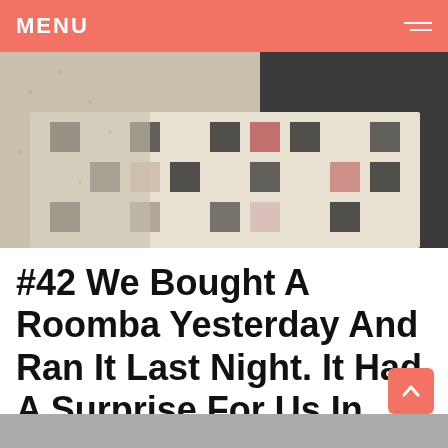MENU
[Figure (photo): Close-up photo of a carpet/rug on the floor showing a patterned decorative rug with black, cream, and red/maroon colors, alongside a beige/tan carpet area]
#42 We Bought A Roomba Yesterday And Ran It Last Night. It Had A Surprise For Us In The Morning